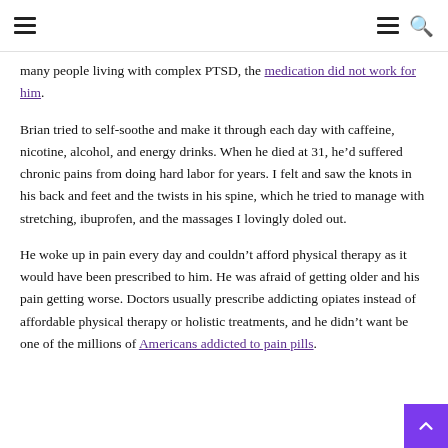≡  ≡ 🔍
many people living with complex PTSD, the medication did not work for him.
Brian tried to self-soothe and make it through each day with caffeine, nicotine, alcohol, and energy drinks. When he died at 31, he'd suffered chronic pains from doing hard labor for years. I felt and saw the knots in his back and feet and the twists in his spine, which he tried to manage with stretching, ibuprofen, and the massages I lovingly doled out.
He woke up in pain every day and couldn't afford physical therapy as it would have been prescribed to him. He was afraid of getting older and his pain getting worse. Doctors usually prescribe addicting opiates instead of affordable physical therapy or holistic treatments, and he didn't want be one of the millions of Americans addicted to pain pills.